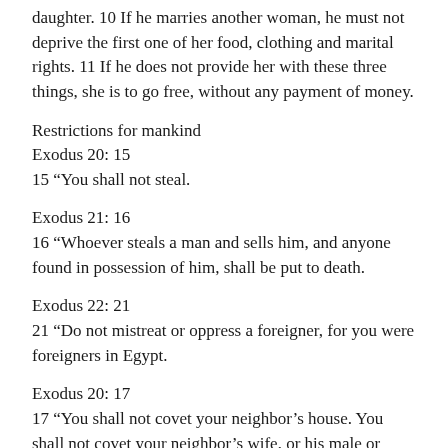daughter. 10 If he marries another woman, he must not deprive the first one of her food, clothing and marital rights. 11 If he does not provide her with these three things, she is to go free, without any payment of money.
Restrictions for mankind
Exodus 20: 15
15 “You shall not steal.
Exodus 21: 16
16 “Whoever steals a man and sells him, and anyone found in possession of him, shall be put to death.
Exodus 22: 21
21 “Do not mistreat or oppress a foreigner, for you were foreigners in Egypt.
Exodus 20: 17
17 “You shall not covet your neighbor’s house. You shall not covet your neighbor’s wife, or his male or female